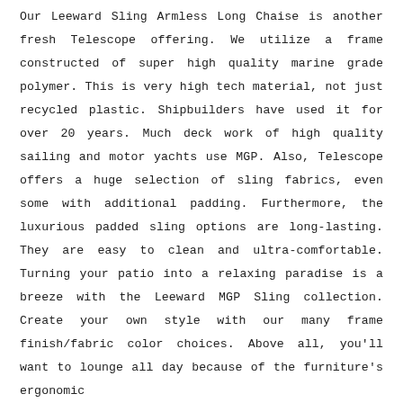Our Leeward Sling Armless Long Chaise is another fresh Telescope offering. We utilize a frame constructed of super high quality marine grade polymer. This is very high tech material, not just recycled plastic. Shipbuilders have used it for over 20 years. Much deck work of high quality sailing and motor yachts use MGP. Also, Telescope offers a huge selection of sling fabrics, even some with additional padding. Furthermore, the luxurious padded sling options are long-lasting. They are easy to clean and ultra-comfortable. Turning your patio into a relaxing paradise is a breeze with the Leeward MGP Sling collection. Create your own style with our many frame finish/fabric color choices. Above all, you'll want to lounge all day because of the furniture's ergonomic